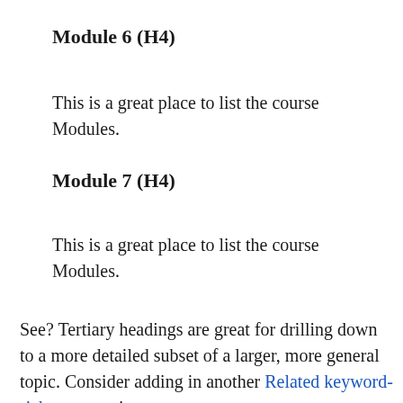Module 6  (H4)
This is a great place to list the course Modules.
Module 7  (H4)
This is a great place to list the course Modules.
See? Tertiary headings are great for drilling down to a more detailed subset of a larger, more general topic. Consider adding in another Related keyword-rich sentence in